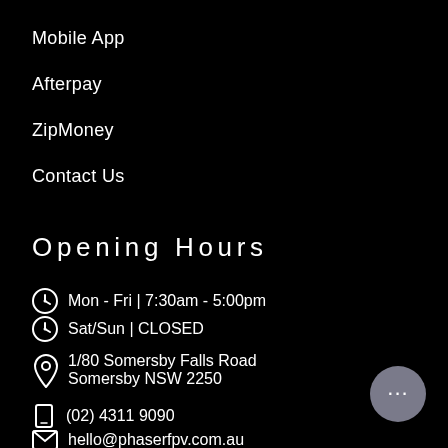Mobile App
Afterpay
ZipMoney
Contact Us
Opening Hours
Mon - Fri | 7:30am - 5:00pm
Sat/Sun | CLOSED
1/80 Somersby Falls Road Somersby NSW 2250
(02) 4311 9090
hello@phaserfpv.com.au